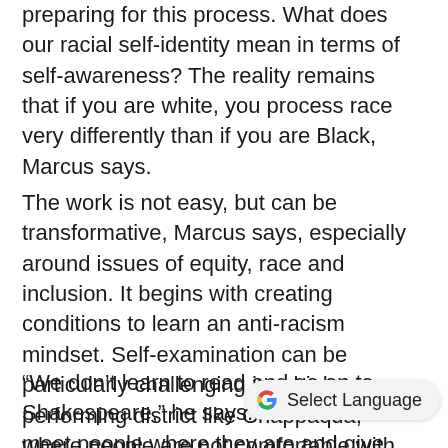preparing for this process. What does our racial self-identity mean in terms of self-awareness? The reality remains that if you are white, you process race very differently than if you are Black, Marcus says.
The work is not easy, but can be transformative, Marcus says, especially around issues of equity, race and inclusion. It begins with creating conditions to learn an anti-racism mindset. Self-examination can be particularly challenging in a high-performing district like Chappaqua, where people are not comfortable with mistakes. When it comes to issues of equity and race, Marcus likens social emotional learning to literacy.
“We don’t learn to read and go on to Shakespeare,” he says. “We need to meet people where they are and give information. Everyone is on a journey and
[Figure (other): Google Translate 'Select Language' widget button with Google G logo]